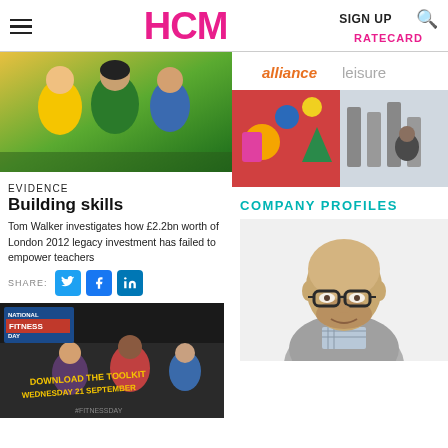HCM | SIGN UP | RATECARD
[Figure (photo): Children in colourful sports shirts — article header image]
EVIDENCE
Building skills
Tom Walker investigates how £2.2bn worth of London 2012 legacy investment has failed to empower teachers
SHARE:
[Figure (photo): National Fitness Day banner — Download the Toolkit, Wednesday 21 September, #FitnessDay]
[Figure (photo): Alliance Leisure advertisement — indoor play and gym areas]
COMPANY PROFILES
[Figure (photo): Headshot of a bald man with glasses and beard wearing a grey jacket]